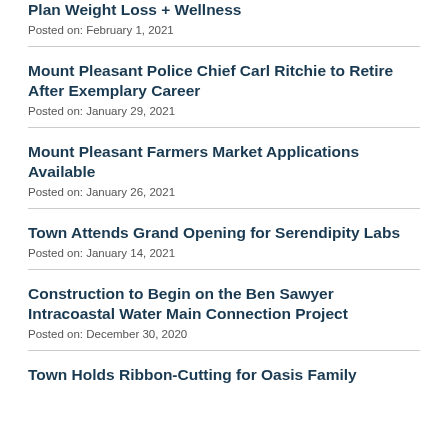Plan Weight Loss + Wellness
Posted on: February 1, 2021
Mount Pleasant Police Chief Carl Ritchie to Retire After Exemplary Career
Posted on: January 29, 2021
Mount Pleasant Farmers Market Applications Available
Posted on: January 26, 2021
Town Attends Grand Opening for Serendipity Labs
Posted on: January 14, 2021
Construction to Begin on the Ben Sawyer Intracoastal Water Main Connection Project
Posted on: December 30, 2020
Town Holds Ribbon-Cutting for Oasis Family